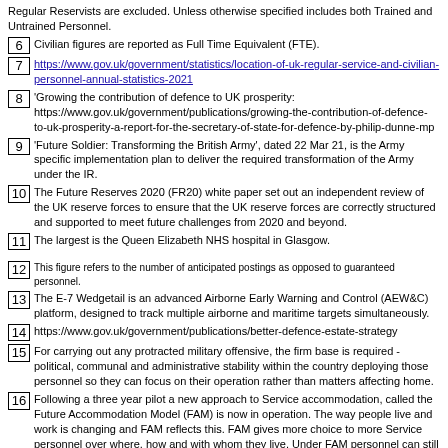Regular Reservists are excluded. Unless otherwise specified includes both Trained and Untrained Personnel.
[6] Civilian figures are reported as Full Time Equivalent (FTE).
[7] https://www.gov.uk/government/statistics/location-of-uk-regular-service-and-civilian-personnel-annual-statistics-2021
[8] 'Growing the contribution of defence to UK prosperity: https://www.gov.uk/government/publications/growing-the-contribution-of-defence-to-uk-prosperity-a-report-for-the-secretary-of-state-for-defence-by-philip-dunne-mp
[9] 'Future Soldier: Transforming the British Army', dated 22 Mar 21, is the Army specific implementation plan to deliver the required transformation of the Army under the IR.
[10] The Future Reserves 2020 (FR20) white paper set out an independent review of the UK reserve forces to ensure that the UK reserve forces are correctly structured and supported to meet future challenges from 2020 and beyond.
[11] The largest is the Queen Elizabeth NHS hospital in Glasgow.
[12] This figure refers to the number of anticipated postings as opposed to guaranteed personnel.
[13] The E-7 Wedgetail is an advanced Airborne Early Warning and Control (AEW&C) platform, designed to track multiple airborne and maritime targets simultaneously.
[14] https://www.gov.uk/government/publications/better-defence-estate-strategy
[15] For carrying out any protracted military offensive, the firm base is required - political, communal and administrative stability within the country deploying those personnel so they can focus on their operation rather than matters affecting home.
[16] Following a three year pilot a new approach to Service accommodation, called the Future Accommodation Model (FAM) is now in operation. The way people live and work is changing and FAM reflects this. FAM gives more choice to more Service personnel over where, how and with whom they live. Under FAM personnel can still select Single Living Accommodation (SLA) or Service Family Accommodation (SFA), but they can also choose to live in private rental accommodation or buy their own home with support from the MOD. FAM applies equally to Service personnel, whether single, married, in a civil partnership or long term established relationship. It also reflects each person's needs, rather than being based on rank.
[17] ADS, Scotland facts and figures 2021.